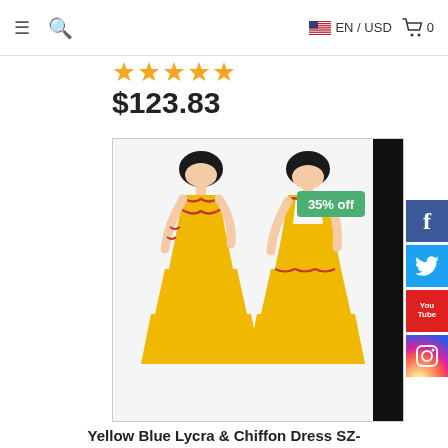≡  🔍  EN / USD  🛒 0
[Figure (other): Five gold star rating icons]
$123.83
[Figure (photo): Yellow and blue Lycra & Chiffon dance dress shown front and back on mannequins, with a green '35% off' badge and a black vertical bar on the right side]
[Figure (logo): Facebook, Twitter, YouTube, Instagram social media sidebar buttons]
Yellow Blue Lycra & Chiffon Dress SZ-